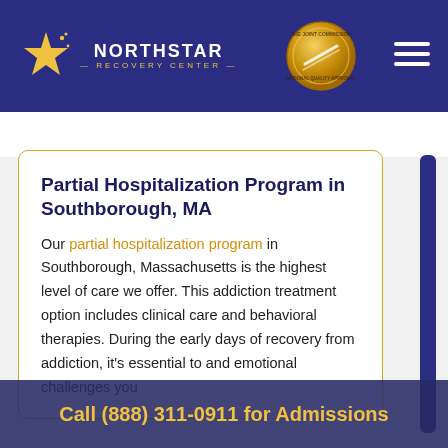[Figure (logo): Northstar Recovery Center logo with gold star on navy header background, with Joint Commission gold medal badge and hamburger menu icon]
Partial Hospitalization Program in Southborough, MA
Our partial hospitalization program in Southborough, Massachusetts is the highest level of care we offer. This addiction treatment option includes clinical care and behavioral therapies. During the early days of recovery from addiction, it's essential to and emotional challenges you
Call (888) 311-0911 for Admissions